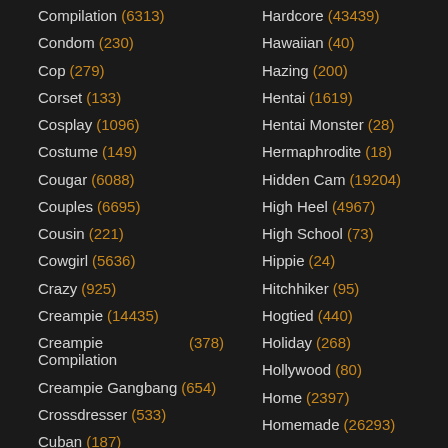Compilation (6313)
Hardcore (43439)
Condom (230)
Hawaiian (40)
Cop (279)
Hazing (200)
Corset (133)
Hentai (1619)
Cosplay (1096)
Hentai Monster (28)
Costume (149)
Hermaphrodite (18)
Cougar (6088)
Hidden Cam (19204)
Couples (6695)
High Heel (4967)
Cousin (221)
High School (73)
Cowgirl (5636)
Hippie (24)
Crazy (925)
Hitchhiker (95)
Creampie (14435)
Hogtied (440)
Creampie Compilation (378)
Holiday (268)
Creampie Gangbang (654)
Hollywood (80)
Crossdresser (533)
Home (2397)
Cuban (187)
Homemade (26293)